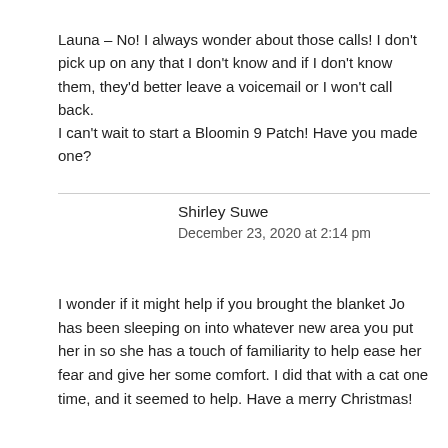Launa – No! I always wonder about those calls! I don't pick up on any that I don't know and if I don't know them, they'd better leave a voicemail or I won't call back.
I can't wait to start a Bloomin 9 Patch! Have you made one?
Shirley Suwe
December 23, 2020 at 2:14 pm
I wonder if it might help if you brought the blanket Jo has been sleeping on into whatever new area you put her in so she has a touch of familiarity to help ease her fear and give her some comfort. I did that with a cat one time, and it seemed to help. Have a merry Christmas!